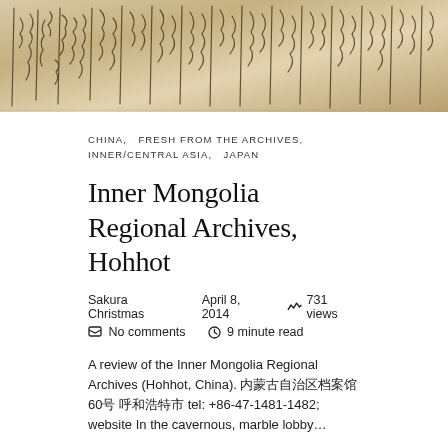[Figure (photo): Historical handwritten manuscript or document with East Asian script characters on aged paper]
CHINA,   FRESH FROM THE ARCHIVES,   INNER/CENTRAL ASIA,   JAPAN
Inner Mongolia Regional Archives, Hohhot
Sakura Christmas   April 8, 2014   731 views   No comments   9 minute read
A review of the Inner Mongolia Regional Archives (Hohhot, China). 内蒙古自治区档案馆60号 呼和浩特市 tel: +86-47-1481-1482; website In the cavernous, marble lobby…